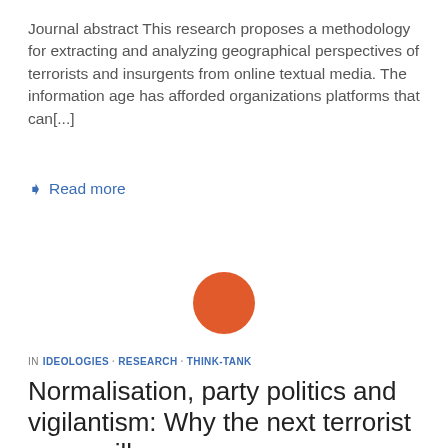Journal abstract This research proposes a methodology for extracting and analyzing geographical perspectives of terrorists and insurgents from online textual media. The information age has afforded organizations platforms that can[...]
Read more
[Figure (illustration): Orange circle graphic]
IN IDEOLOGIES · RESEARCH · THINK-TANK
Normalisation, party politics and vigilantism: Why the next terrorist wave will